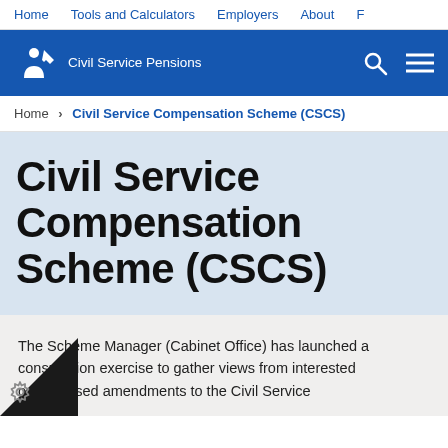Home  Tools and Calculators  Employers  About
[Figure (logo): Civil Service Pensions logo — white icon of a person and the text 'Civil Service Pensions' on a blue background, with search and menu icons on the right]
Home > Civil Service Compensation Scheme (CSCS)
Civil Service Compensation Scheme (CSCS)
The Scheme Manager (Cabinet Office) has launched a consultation exercise to gather views from interested on proposed amendments to the Civil Service